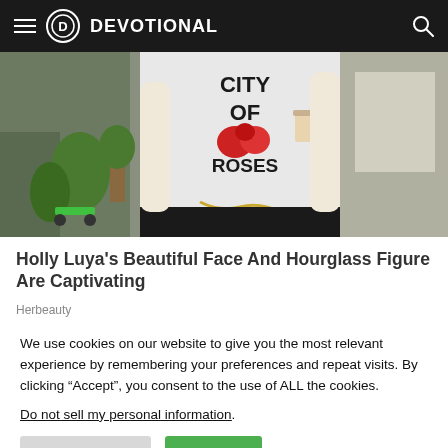DEVOTIONAL
[Figure (photo): Person wearing a white long-sleeve shirt with 'CITY OF ROSES' text and a red rose graphic, holding a coffee cup, standing outside.]
Holly Luya's Beautiful Face And Hourglass Figure Are Captivating
Herbeauty
We use cookies on our website to give you the most relevant experience by remembering your preferences and repeat visits. By clicking “Accept”, you consent to the use of ALL the cookies.
Do not sell my personal information.